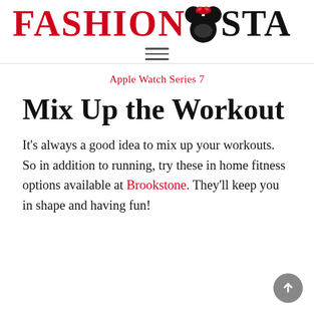FASHIONEARSTA
Apple Watch Series 7
Mix Up the Workout
It's always a good idea to mix up your workouts. So in addition to running, try these in home fitness options available at Brookstone. They'll keep you in shape and having fun!